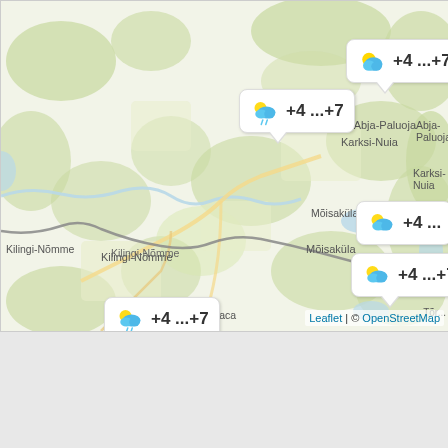[Figure (map): OpenStreetMap tile showing region of Estonia/Latvia border area including towns Kilingi-Nõmme, Abja-Paluoja, Karksi-Nuia, Mõisaküla, Rūjiena, Mazsalaca, Tõrva. Five weather tooltip bubbles showing temperature +4...+7 with partly-cloudy or rainy-cloud icons are overlaid on the map. Attribution: Leaflet | © OpenStreetMap]